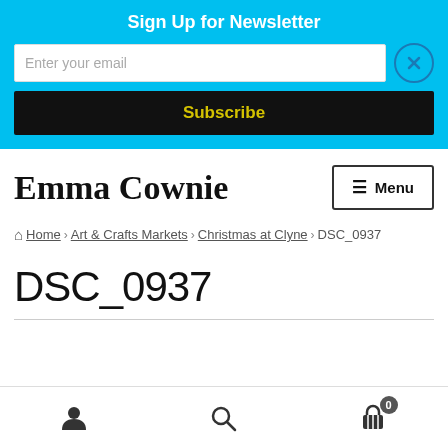Sign Up for Newsletter
Enter your email
Subscribe
[Figure (logo): Emma Cownie handwritten-style logo text]
Menu
Home › Art & Crafts Markets › Christmas at Clyne › DSC_0937
DSC_0937
User icon | Search icon | Cart icon with badge 0